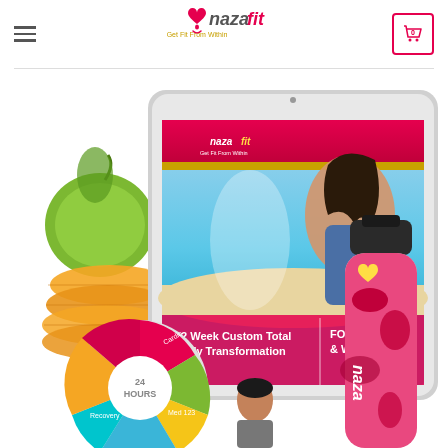[Figure (logo): Nazafit logo with tagline 'Get Fit From Within' in pink and gold colors]
[Figure (screenshot): Nazafit product promotional image showing a tablet with fitness program cover (12 Week Custom Total Body Transformation FOR MEN & WOMEN), surrounded by fresh fruits (apple, oranges), a pink branded water bottle, a colorful pie chart DVD, and fitness icons showing 6 Steps to Total Transformation, Custom Daily Routines, and 100min Meal Plans]